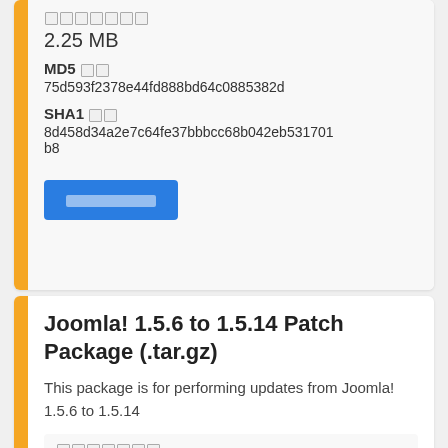[unrenderable characters]
2.25 MB
MD5 [icon] 75d593f2378e44fd888bd64c0885382d
SHA1 [icon] 8d458d34a2e7c64fe37bbbcc68b042eb531701b8
[button: unrenderable text]
Joomla! 1.5.6 to 1.5.14 Patch Package (.tar.gz)
This package is for performing updates from Joomla! 1.5.6 to 1.5.14
[unrenderable label] 10,889 [unrenderable unit]